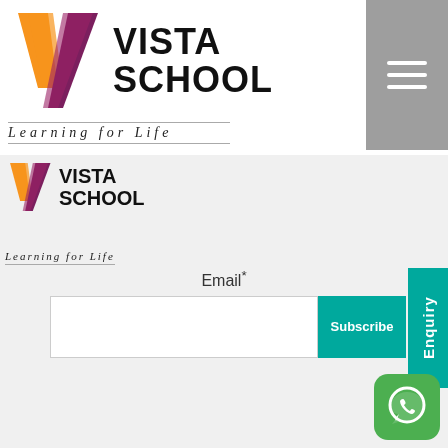[Figure (logo): Vista School logo - large version with orange/purple V icon and bold VISTA SCHOOL text]
Learning for Life
[Figure (logo): Vista School logo - small version with orange/purple V icon and VISTA SCHOOL text]
Learning for Life
Email*
[Figure (screenshot): Email input text field]
Subscribe
Enquiry
[Figure (logo): WhatsApp icon button - green rounded square with white phone handset speech bubble icon]